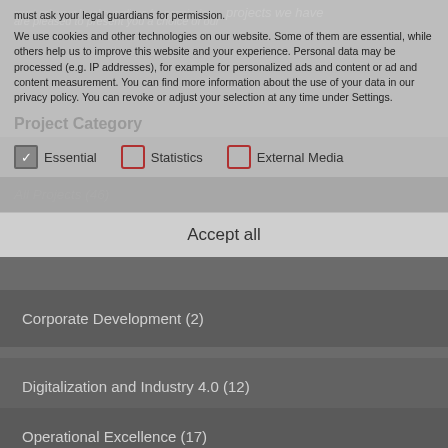must ask your legal guardians for permission.
We use cookies and other technologies on our website. Some of them are essential, while others help us to improve this website and your experience. Personal data may be processed (e.g. IP addresses), for example for personalized ads and content or ad and content measurement. You can find more information about the use of your data in our privacy policy. You can revoke or adjust your selection at any time under Settings.
Project Category
Essential   Statistics   External Media
All Projects (46)
Accept all
Corporate Development (2)
Digitalization and Industry 4.0 (12)
Operational Excellence (17)